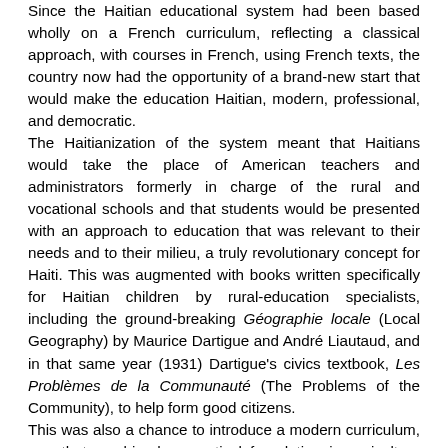Since the Haitian educational system had been based wholly on a French curriculum, reflecting a classical approach, with courses in French, using French texts, the country now had the opportunity of a brand-new start that would make the education Haitian, modern, professional, and democratic. The Haitianization of the system meant that Haitians would take the place of American teachers and administrators formerly in charge of the rural and vocational schools and that students would be presented with an approach to education that was relevant to their needs and to their milieu, a truly revolutionary concept for Haiti. This was augmented with books written specifically for Haitian children by rural-education specialists, including the ground-breaking Géographie locale (Local Geography) by Maurice Dartigue and André Liautaud, and in that same year (1931) Dartigue's civics textbook, Les Problèmes de la Communauté (The Problems of the Community), to help form good citizens. This was also a chance to introduce a modern curriculum, one that combined a practical foundation in agriculture and manual trades with "book learning," i.e., the three Rs, elements of Haitian history and